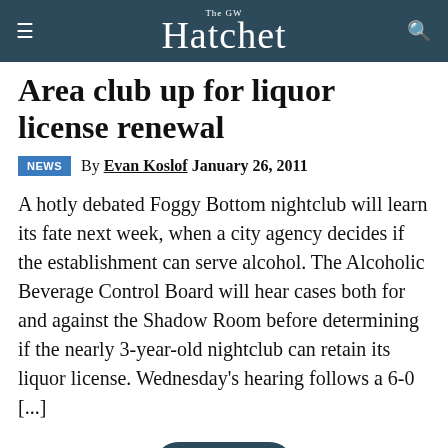The GW Hatchet
Area club up for liquor license renewal
By Evan Koslof January 26, 2011
A hotly debated Foggy Bottom nightclub will learn its fate next week, when a city agency decides if the establishment can serve alcohol. The Alcoholic Beverage Control Board will hear cases both for and against the Shadow Room before determining if the nearly 3-year-old nightclub can retain its liquor license. Wednesday's hearing follows a 6-0 [...]